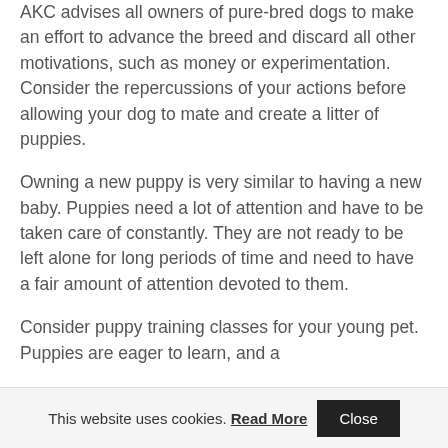AKC advises all owners of pure-bred dogs to make an effort to advance the breed and discard all other motivations, such as money or experimentation. Consider the repercussions of your actions before allowing your dog to mate and create a litter of puppies.
Owning a new puppy is very similar to having a new baby. Puppies need a lot of attention and have to be taken care of constantly. They are not ready to be left alone for long periods of time and need to have a fair amount of attention devoted to them.
Consider puppy training classes for your young pet. Puppies are eager to learn, and a
This website uses cookies. Read More  Close